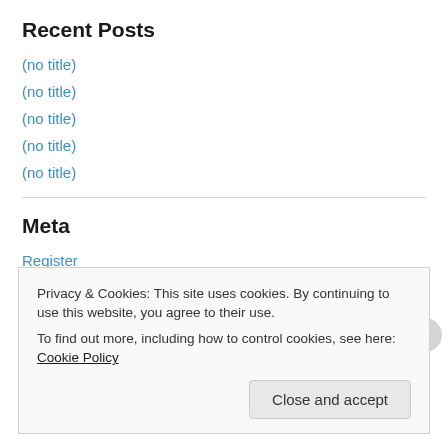Recent Posts
(no title)
(no title)
(no title)
(no title)
(no title)
Meta
Register
Log in
Privacy & Cookies: This site uses cookies. By continuing to use this website, you agree to their use.
To find out more, including how to control cookies, see here: Cookie Policy
Close and accept